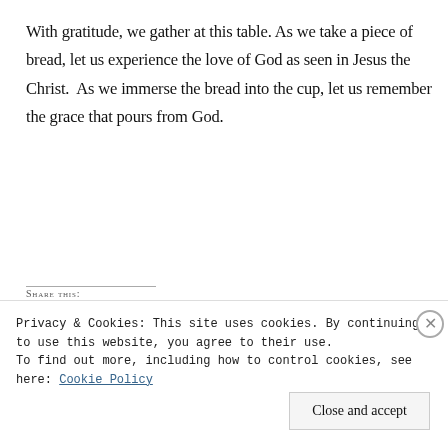With gratitude, we gather at this table. As we take a piece of bread, let us experience the love of God as seen in Jesus the Christ. As we immerse the bread into the cup, let us remember the grace that pours from God.
Share this:
Privacy & Cookies: This site uses cookies. By continuing to use this website, you agree to their use. To find out more, including how to control cookies, see here: Cookie Policy
Close and accept